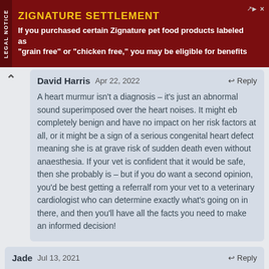[Figure (other): Advertisement banner for Zignature Settlement. Yellow bold title 'ZIGNATURE SETTLEMENT' on dark red background. Text: 'If you purchased certain Zignature pet food products labeled as "grain free" or "chicken free," you may be eligible for benefits'. Left side shows 'LEGAL NOTICE' rotated vertically.]
David Harris  Apr 22, 2022  ↩ Reply
A heart murmur isn't a diagnosis – it's just an abnormal sound superimposed over the heart noises. It might eb completely benign and have no impact on her risk factors at all, or it might be a sign of a serious congenital heart defect meaning she is at grave risk of sudden death even without anaesthesia. If your vet is confident that it would be safe, then she probably is – but if you do want a second opinion, you'd be best getting a referralf rom your vet to a veterinary cardiologist who can determine exactly what's going on in there, and then you'll have all the facts you need to make an informed decision!
Jade  Jul 13, 2021  ↩ Reply